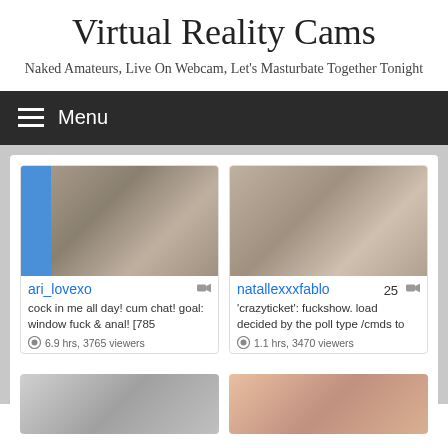Virtual Reality Cams
Naked Amateurs, Live On Webcam, Let’s Masturbate Together Tonight
≡ Menu
[Figure (photo): Thumbnail image of webcam user ari_lovexo on a bed]
ari_lovexo
cock in me all day! cum chat! goal: window fuck & anal! [785
6.9 hrs, 3765 viewers
[Figure (photo): Thumbnail image of webcam user natallexxxfablo]
natallexxxfablo 25
'crazyticket': fuckshow. load decided by the poll type /cmds to
1.1 hrs, 3470 viewers
[Figure (photo): Bottom-left partial thumbnail of a webcam user]
[Figure (photo): Bottom-right partial thumbnail of a webcam user with red hair]